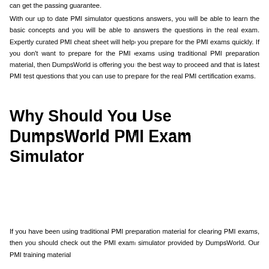can get the passing guarantee.
With our up to date PMI simulator questions answers, you will be able to learn the basic concepts and you will be able to answers the questions in the real exam. Expertly curated PMI cheat sheet will help you prepare for the PMI exams quickly. If you don't want to prepare for the PMI exams using traditional PMI preparation material, then DumpsWorld is offering you the best way to proceed and that is latest PMI test questions that you can use to prepare for the real PMI certification exams.
Why Should You Use DumpsWorld PMI Exam Simulator
If you have been using traditional PMI preparation material for clearing PMI exams, then you should check out the PMI exam simulator provided by DumpsWorld. Our PMI training material